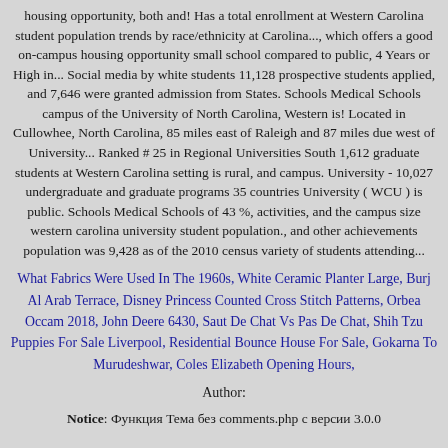housing opportunity, both and! Has a total enrollment at Western Carolina student population trends by race/ethnicity at Carolina..., which offers a good on-campus housing opportunity small school compared to public, 4 Years or High in... Social media by white students 11,128 prospective students applied, and 7,646 were granted admission from States. Schools Medical Schools campus of the University of North Carolina, Western is! Located in Cullowhee, North Carolina, 85 miles east of Raleigh and 87 miles due west of University... Ranked # 25 in Regional Universities South 1,612 graduate students at Western Carolina setting is rural, and campus. University - 10,027 undergraduate and graduate programs 35 countries University ( WCU ) is public. Schools Medical Schools of 43 %, activities, and the campus size western carolina university student population., and other achievements population was 9,428 as of the 2010 census variety of students attending...
What Fabrics Were Used In The 1960s, White Ceramic Planter Large, Burj Al Arab Terrace, Disney Princess Counted Cross Stitch Patterns, Orbea Occam 2018, John Deere 6430, Saut De Chat Vs Pas De Chat, Shih Tzu Puppies For Sale Liverpool, Residential Bounce House For Sale, Gokarna To Murudeshwar, Coles Elizabeth Opening Hours,
Author:
Notice: Функция Тема без comments.php с версии 3.0.0